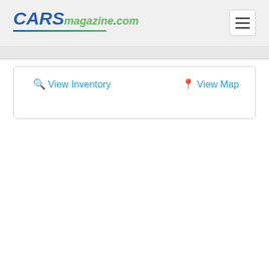CARSmagazine.com
View Inventory
View Map